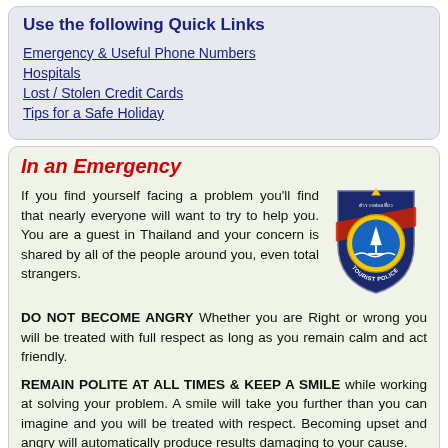Use the following Quick Links
Emergency & Useful Phone Numbers
Hospitals
Lost / Stolen Credit Cards
Tips for a Safe Holiday
In an Emergency
If you find yourself facing a problem you'll find that nearly everyone will want to try to help you. You are a guest in Thailand and your concern is shared by all of the people around you, even total strangers.
[Figure (logo): Tourist Police badge — dark navy blue shield shape with yellow circle containing a blue sailboat/temple image; red diagonal stripe; text 'TOURIST POLICE' around bottom edge; Thai text at top]
DO NOT BECOME ANGRY Whether you are Right or wrong you will be treated with full respect as long as you remain calm and act friendly.
REMAIN POLITE AT ALL TIMES & KEEP A SMILE while working at solving your problem. A smile will take you further than you can imagine and you will be treated with respect. Becoming upset and angry will automatically produce results damaging to your cause.